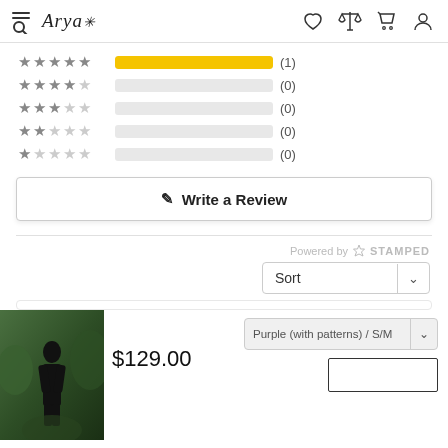Arya [logo] — navigation header with hamburger/search, wishlist, compare, cart, account icons
[Figure (other): Star rating distribution bars: 5-star (1), 4-star (0), 3-star (0), 2-star (0), 1-star (0)]
Write a Review
Powered by STAMPED
Sort
[Figure (photo): Woman in dark outfit standing in green forest setting]
$129.00
Purple (with patterns) / S/M